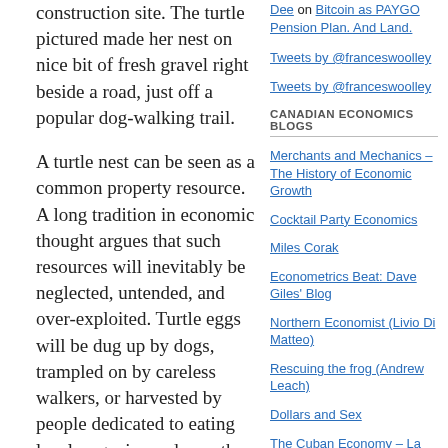construction site. The turtle pictured made her nest on nice bit of fresh gravel right beside a road, just off a popular dog-walking trail.
A turtle nest can be seen as a common property resource. A long tradition in economic thought argues that such resources will inevitably be neglected, untended, and over-exploited. Turtle eggs will be dug up by dogs, trampled on by careless walkers, or harvested by people dedicated to eating local, organic produce - the tragedy of the commons.
Dee on Bitcoin as PAYGO Pension Plan. And Land.
Tweets by @franceswoolley
Tweets by @franceswoolley
CANADIAN ECONOMICS BLOGS
Merchants and Mechanics – The History of Economic Growth
Cocktail Party Economics
Miles Corak
Econometrics Beat: Dave Giles' Blog
Northern Economist (Livio Di Matteo)
Rescuing the frog (Andrew Leach)
Dollars and Sex
The Cuban Economy – La Economia Cubana
Stephen Williamson
David Andolfatto: MacroMania